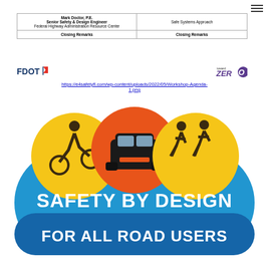| Presenter | Topic |
| --- | --- |
| Mark Doctor, P.E.
Senior Safety & Design Engineer
Federal Highway Administration Resource Center | Safe Systems Approach |
| Closing Remarks | Closing Remarks |
[Figure (logo): FDOT logo (Florida Department of Transportation) on left, Toward Zero Deaths logo on right]
https://e4safetyfl.com/wp-content/uploads/2022/05/Workshop-Agenda-1.png
[Figure (illustration): Safety By Design For All Road Users logo with cyclist (yellow circle), car (orange/red circle), pedestrians (yellow circle) above a blue pill-shaped banner reading SAFETY BY DESIGN with FOR ALL ROAD USERS in a darker blue band below]